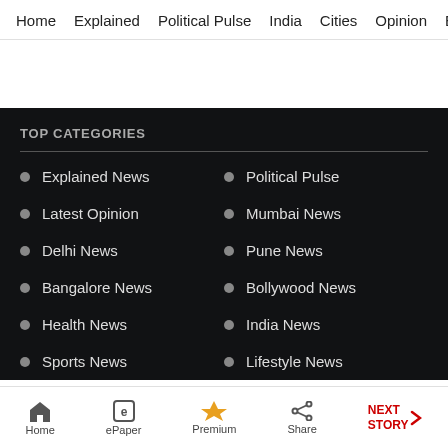Home | Explained | Political Pulse | India | Cities | Opinion | Entertainment
TOP CATEGORIES
Explained News
Political Pulse
Latest Opinion
Mumbai News
Delhi News
Pune News
Bangalore News
Bollywood News
Health News
India News
Sports News
Lifestyle News
Home | ePaper | Premium | Share | NEXT STORY